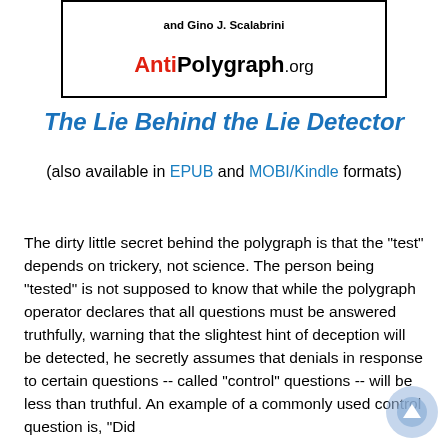[Figure (illustration): Book cover box with author credit 'and Gino J. Scalabrini' and AntiPolygraph.org logo in red and black text]
The Lie Behind the Lie Detector
(also available in EPUB and MOBI/Kindle formats)
The dirty little secret behind the polygraph is that the "test" depends on trickery, not science. The person being "tested" is not supposed to know that while the polygraph operator declares that all questions must be answered truthfully, warning that the slightest hint of deception will be detected, he secretly assumes that denials in response to certain questions -- called "control" questions -- will be less than truthful. An example of a commonly used control question is, "Did